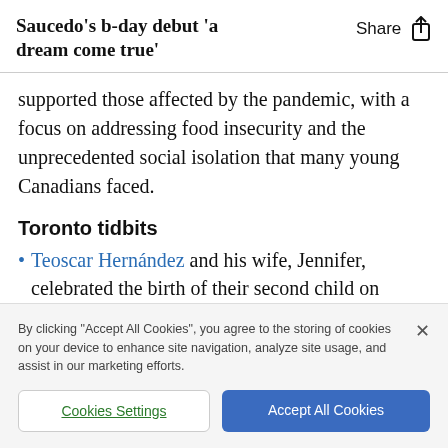Saucedo's b-day debut 'a dream come true'
supported those affected by the pandemic, with a focus on addressing food insecurity and the unprecedented social isolation that many young Canadians faced.
Toronto tidbits
Teoscar Hernández and his wife, Jennifer, celebrated the birth of their second child on Friday.
By clicking "Accept All Cookies", you agree to the storing of cookies on your device to enhance site navigation, analyze site usage, and assist in our marketing efforts.
Cookies Settings | Accept All Cookies